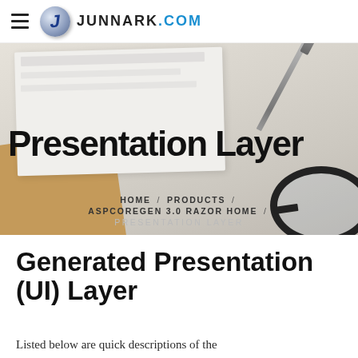JUNNARK.COM
[Figure (screenshot): Hero banner with desk background showing white paper, pen, glasses, and large 'Presentation Layer' title text with breadcrumb navigation below]
Presentation Layer
HOME / PRODUCTS / ASPCOREGEN 3.0 RAZOR HOME / PRESENTATION LAYER
Generated Presentation (UI) Layer
Listed below are quick descriptions of the